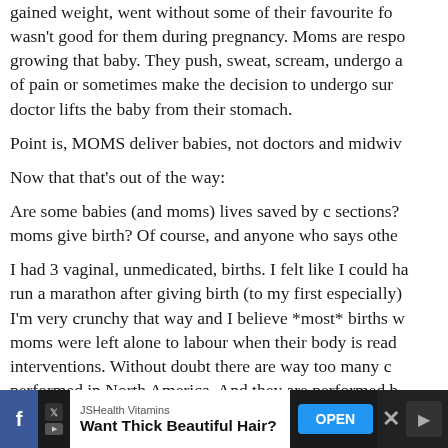gained weight, went without some of their favourite fo wasn't good for them during pregnancy. Moms are respo growing that baby. They push, sweat, scream, undergo a of pain or sometimes make the decision to undergo sur doctor lifts the baby from their stomach.

Point is, MOMS deliver babies, not doctors and midwiv

Now that that's out of the way:

Are some babies (and moms) lives saved by c sections? moms give birth? Of course, and anyone who says othe

I had 3 vaginal, unmedicated, births. I felt like I could ha run a marathon after giving birth (to my first especially) I'm very crunchy that way and I believe *most* births w moms were left alone to labour when their body is read interventions. Without doubt there are way too many c performed in North America. And they are performed b hounded by liability issues, huge insurance bills, and ba places where lawmakers believe VBACs are dangerous doctors simply don't want to wait out a labouring patie
[Figure (screenshot): Advertisement bar at bottom: JSHealth Vitamins ad reading 'Want Thick Beautiful Hair?' with an OPEN button, social/app icons on right, dark background]